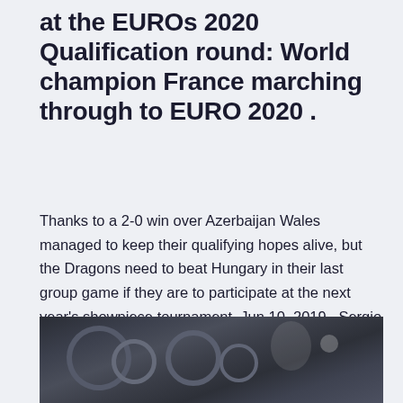at the EUROs 2020 Qualification round: World champion France marching through to EURO 2020 .
Thanks to a 2-0 win over Azerbaijan Wales managed to keep their qualifying hopes alive, but the Dragons need to beat Hungary in their last group game if they are to participate at the next year's showpiece tournament. Jun 10, 2019 · Sergio Ramos extended his scoring streak and helped Spain defeat Sweden 3-0 to remain leader of its qualifying group for the 2020 European Championship on Monday.
[Figure (photo): A dark, close-up mechanical or sports equipment photograph, partially visible at the bottom of the page.]